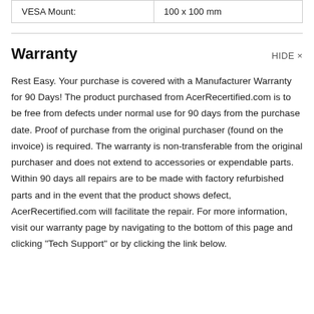| VESA Mount: | 100 x 100 mm |
Warranty
Rest Easy. Your purchase is covered with a Manufacturer Warranty for 90 Days! The product purchased from AcerRecertified.com is to be free from defects under normal use for 90 days from the purchase date. Proof of purchase from the original purchaser (found on the invoice) is required. The warranty is non-transferable from the original purchaser and does not extend to accessories or expendable parts. Within 90 days all repairs are to be made with factory refurbished parts and in the event that the product shows defect, AcerRecertified.com will facilitate the repair. For more information, visit our warranty page by navigating to the bottom of this page and clicking "Tech Support" or by clicking the link below.